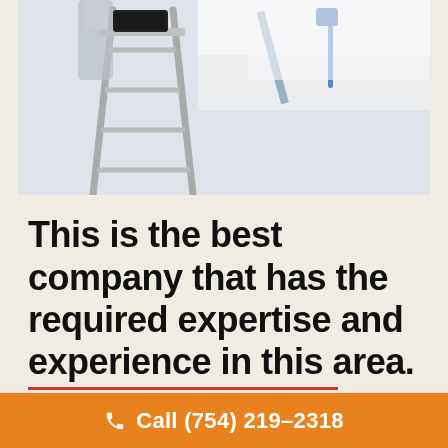[Figure (photo): A person on a stepladder painting a wall/ceiling with a paint roller. A black paint tray sits on the ladder. The background shows a white wall being painted.]
This is the best company that has the required expertise and experience in this area.
Call (754) 219-2318